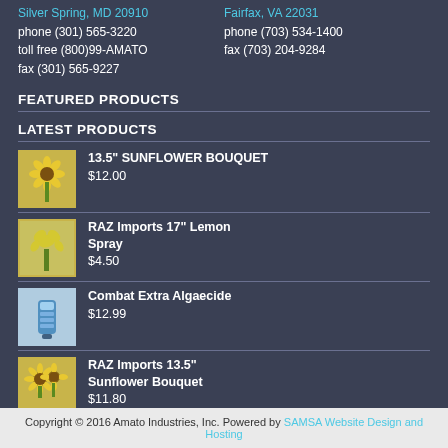Silver Spring, MD 20910
phone (301) 565-3220
toll free (800)99-AMATO
fax (301) 565-9227
Fairfax, VA 22031
phone (703) 534-1400
fax (703) 204-9284
FEATURED PRODUCTS
LATEST PRODUCTS
13.5" SUNFLOWER BOUQUET $12.00
RAZ Imports 17" Lemon Spray $4.50
Combat Extra Algaecide $12.99
RAZ Imports 13.5" Sunflower Bouquet $11.80
Copyright © 2016 Amato Industries, Inc. Powered by SAMSA Website Design and Hosting